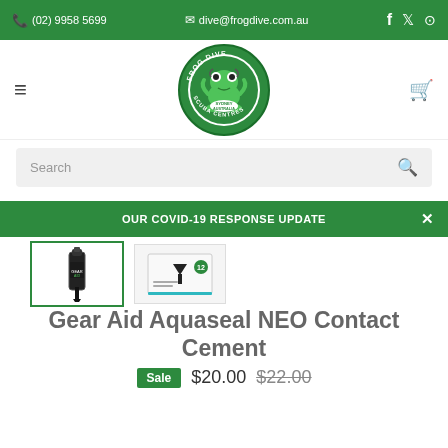(02) 9958 5699 | dive@frogdive.com.au
[Figure (logo): Frog Dive Scuba Centres circular logo with green background and frog illustration]
Search
OUR COVID-19 RESPONSE UPDATE
[Figure (photo): Gear Aid Aquaseal NEO Contact Cement product images]
Gear Aid Aquaseal NEO Contact Cement
Sale $20.00 $22.00